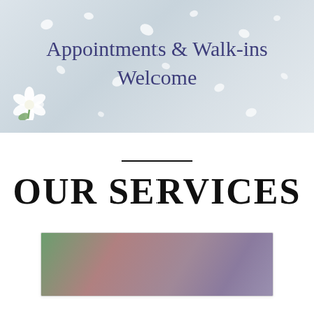[Figure (photo): Light blue-grey background with white flower petals scattered, text overlay reading 'Appointments & Walk-ins Welcome']
Appointments & Walk-ins Welcome
OUR SERVICES
[Figure (photo): Blurred image showing green and purple/mauve tones, partial view at bottom of page inside a card with border]